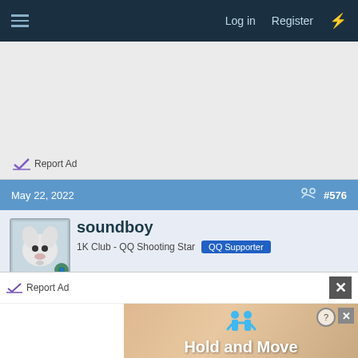Log in   Register
[Figure (screenshot): Advertisement area, light gray background with Report Ad link]
Report Ad
May 22, 2022   #576
soundboy
1K Club - QQ Shooting Star   QQ Supporter
Sashaaa said:
For some reason this has been in my head constantly for the
[Figure (screenshot): Bottom ad overlay: Report Ad bar and Hold and Move game advertisement banner]
Report Ad
Hold and Move